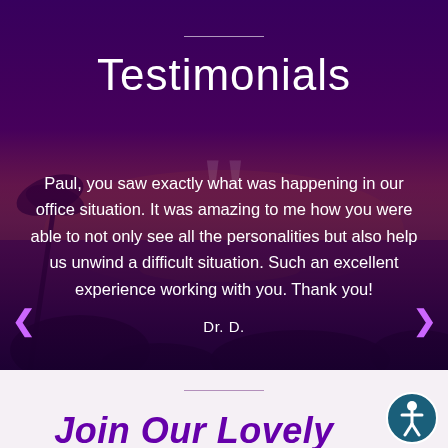[Figure (photo): Purple-tinted sunset over ocean with rocks and palm trees in the background, serving as the testimonials section background]
Testimonials
Paul, you saw exactly what was happening in our office situation. It was amazing to me how you were able to not only see all the personalities but also help us unwind a difficult situation. Such an excellent experience working with you. Thank you!
Dr. D.
Join Our Lovely Tribe!